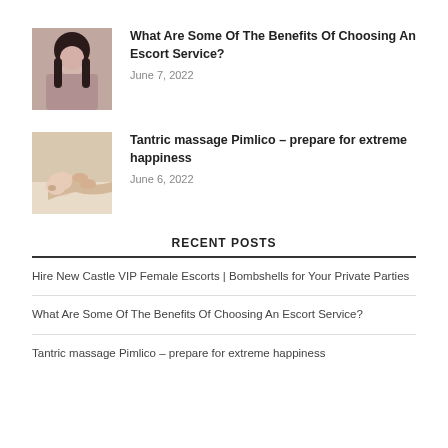[Figure (photo): Photo of a woman with long dark hair wearing a black outfit]
What Are Some Of The Benefits Of Choosing An Escort Service?
June 7, 2022
[Figure (photo): Photo of a woman receiving a back massage lying on a table]
Tantric massage Pimlico – prepare for extreme happiness
June 6, 2022
RECENT POSTS
Hire New Castle VIP Female Escorts | Bombshells for Your Private Parties
What Are Some Of The Benefits Of Choosing An Escort Service?
Tantric massage Pimlico – prepare for extreme happiness